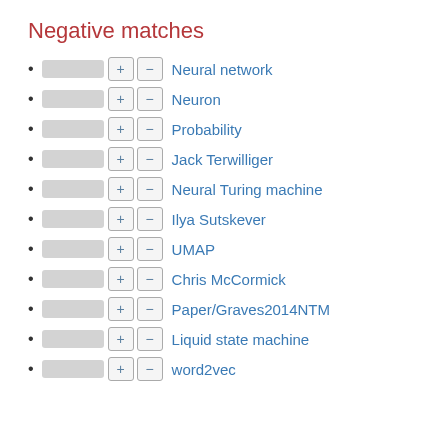Negative matches
Neural network
Neuron
Probability
Jack Terwilliger
Neural Turing machine
Ilya Sutskever
UMAP
Chris McCormick
Paper/Graves2014NTM
Liquid state machine
word2vec